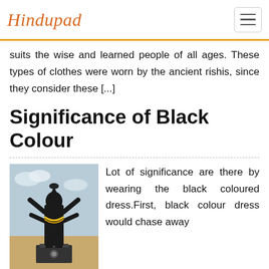Hindupad
suits the wise and learned people of all ages. These types of clothes were worn by the ancient rishis, since they consider these [...]
Significance of Black Colour
[Figure (photo): Black statue of a multi-armed Hindu deity standing on a pedestal in an outdoor landscape, decorated with yellow garlands]
Lot of significance are there by wearing the black coloured dress.First, black colour dress would chase away the evil spirits, and gives confidence to